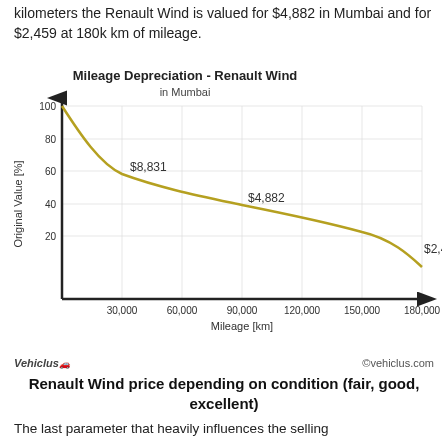kilometers the Renault Wind is valued for $4,882 in Mumbai and for $2,459 at 180k km of mileage.
[Figure (continuous-plot): A depreciation curve showing Original Value [%] vs Mileage [km] for Renault Wind in Mumbai. The curve starts near 100% at 0 km and decays rapidly, with annotated values: $8,831 at ~30,000 km (~55%), $4,882 at ~90,000 km (~35%), $2,459 at ~180,000 km (~15%).]
Vehiclus  ©vehiclus.com
Renault Wind price depending on condition (fair, good, excellent)
The last parameter that heavily influences the selling price of a car vehicle is its physical condition that is